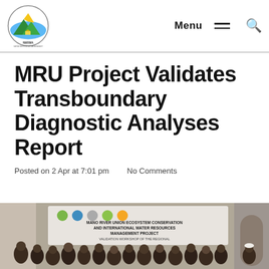NWRMA logo | Menu | Search
MRU Project Validates Transboundary Diagnostic Analyses Report
Posted on 2 Apr at 7:01 pm   No Comments
[Figure (photo): Group photo of attendees at the MANO River Union Ecosystem Conservation and International Water Resources Management Project validation workshop of the Regional Synthesis Report of Transboundary Diagnostic Analyses]